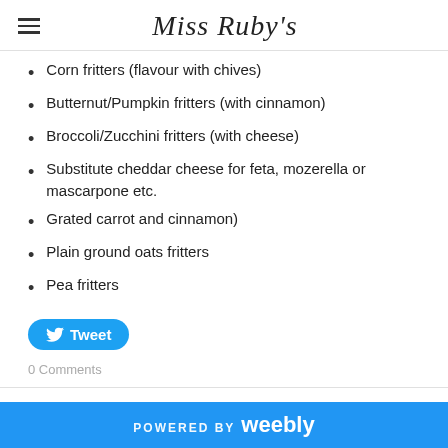Miss Ruby's
Corn fritters (flavour with chives)
Butternut/Pumpkin fritters (with cinnamon)
Broccoli/Zucchini fritters (with cheese)
Substitute cheddar cheese for feta, mozerella or mascarpone etc.
Grated carrot and cinnamon)
Plain ground oats fritters
Pea fritters
Tweet
0 Comments
Surviving the NICU (and supporting NICU parents)
POWERED BY weebly